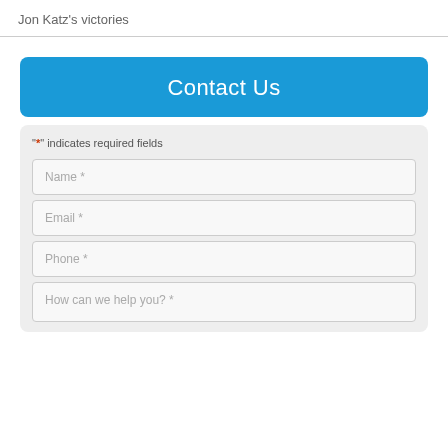Jon Katz's victories
Contact Us
"*" indicates required fields
Name *
Email *
Phone *
How can we help you? *